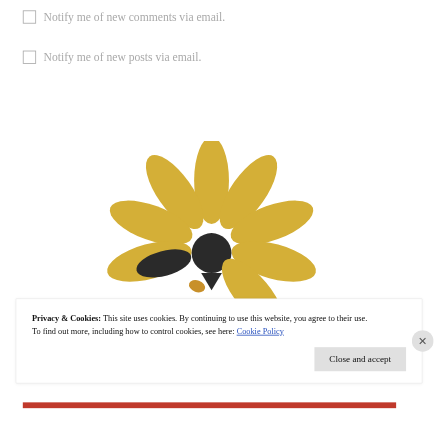☐ Notify me of new comments via email.
☐ Notify me of new posts via email.
[Figure (logo): Sunflower logo with golden petals and dark center with small bee/face motif]
Privacy & Cookies: This site uses cookies. By continuing to use this website, you agree to their use.
To find out more, including how to control cookies, see here: Cookie Policy
Close and accept